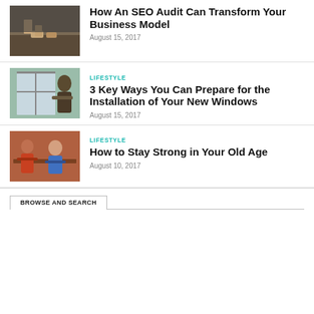[Figure (photo): Hands working with wooden blocks on a chalkboard surface]
How An SEO Audit Can Transform Your Business Model
August 15, 2017
[Figure (photo): Person installing or working on a window]
LIFESTYLE
3 Key Ways You Can Prepare for the Installation of Your New Windows
August 15, 2017
[Figure (photo): Two people in a gym, one older person exercising with assistance]
LIFESTYLE
How to Stay Strong in Your Old Age
August 10, 2017
BROWSE AND SEARCH